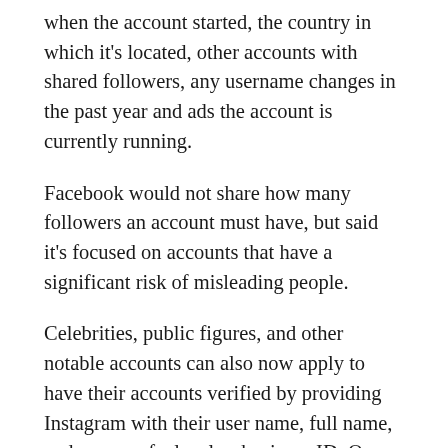when the account started, the country in which it's located, other accounts with shared followers, any username changes in the past year and ads the account is currently running.
Facebook would not share how many followers an account must have, but said it's focused on accounts that have a significant risk of misleading people.
Celebrities, public figures, and other notable accounts can also now apply to have their accounts verified by providing Instagram with their user name, full name, and a copy of a legal or business ID. Once verified, their accounts will feature a blue "verified" badge similar to the one Twitter uses, letting people know the account is the real deal.